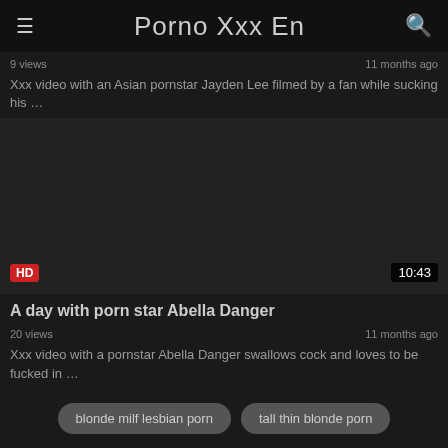Porno Xxx En
9 views   11 months ago
Xxx video with an Asian pornstar Jayden Lee filmed by a fan while sucking his …
[Figure (other): Dark video thumbnail with HD badge and 10:43 duration label]
A day with porn star Abella Danger
20 views   11 months ago
Xxx video with a pornstar Abella Danger swallows cock and loves to be fucked in …
blonde milf lesbian porn
tall thin blonde porn